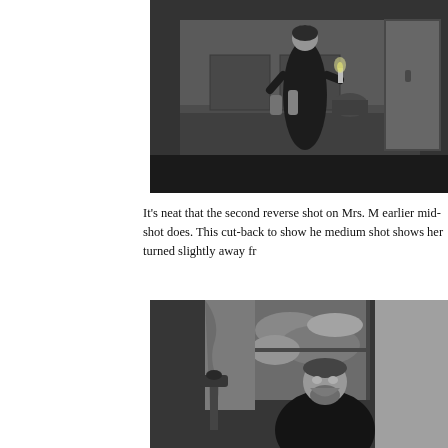[Figure (photo): Black and white film still showing a woman in dark dress standing in a kitchen/room, holding a candle, with kitchen equipment visible on a counter behind her.]
It's neat that the second reverse shot on Mrs. M earlier mid-shot does. This cut-back to show he medium shot shows her turned slightly away fr
[Figure (photo): Black and white film still showing a bearded man in a dark turtleneck, standing near a window with curtains and a telescope or camera equipment visible, dramatic cloudy sky visible through window.]